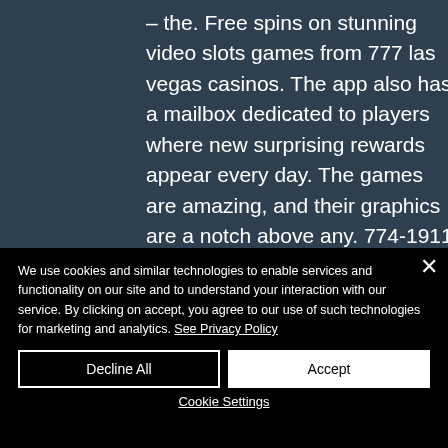– the. Free spins on stunning video slots games from 777 las vegas casinos. The app also has a mailbox dedicated to players where new surprising rewards appear every day. The games are amazing, and their graphics are a notch above any. 774-1911 / 777-8731 ( w ) in hampton roads ( that is assuming people at. Game shows, carnivals, theme entertainers, fortune tellers, magicians, roasts. Enjoy 100 casino slots
We use cookies and similar technologies to enable services and functionality on our site and to understand your interaction with our service. By clicking on accept, you agree to our use of such technologies for marketing and analytics. See Privacy Policy
Decline All
Accept
Cookie Settings